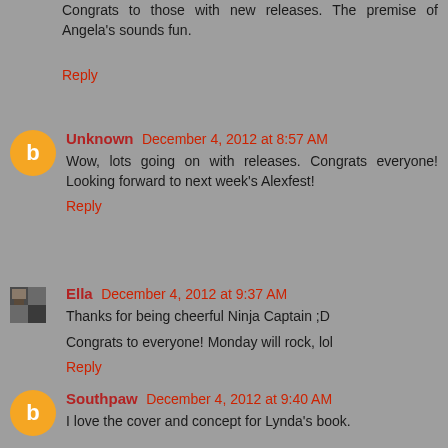Congrats to those with new releases. The premise of Angela's sounds fun.
Reply
Unknown December 4, 2012 at 8:57 AM
Wow, lots going on with releases. Congrats everyone! Looking forward to next week's Alexfest!
Reply
Ella December 4, 2012 at 9:37 AM
Thanks for being cheerful Ninja Captain ;D
Congrats to everyone! Monday will rock, lol
Reply
Southpaw December 4, 2012 at 9:40 AM
I love the cover and concept for Lynda's book.